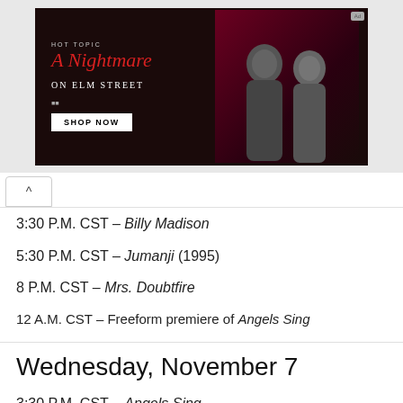[Figure (photo): Hot Topic advertisement for A Nightmare on Elm Street merchandise featuring two figures dressed in dark clothing against a red/dark backdrop with 'SHOP NOW' button]
3:30 P.M. CST – Billy Madison
5:30 P.M. CST – Jumanji (1995)
8 P.M. CST – Mrs. Doubtfire
12 A.M. CST – Freeform premiere of Angels Sing
Wednesday, November 7
3:30 P.M. CST – Angels Sing
5:30 P.M. CST – Mrs. Doubtfire
8:30 P.M. CST – Sweet Home Alabama